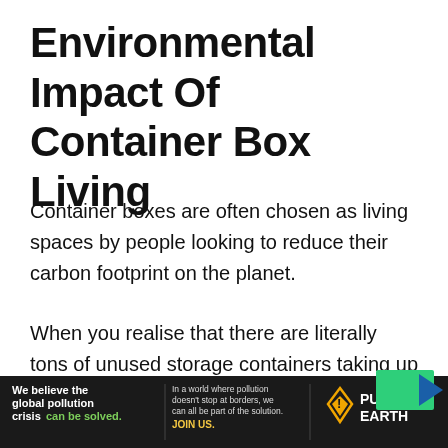Environmental Impact Of Container Box Living
Container boxes are often chosen as living spaces by people looking to reduce their carbon footprint on the planet.
When you realise that there are literally tons of unused storage containers taking up space this makes sense. It proves too expensive to ship empty containers back to their destination, and it works out cheaper to buy new ones in Asia (which is typically the source of most of the world's
[Figure (other): Pure Earth advertisement banner with dark background. Left text: 'We believe the global pollution crisis can be solved.' Middle text: 'In a world where pollution doesn't stop at borders, we can all be part of the solution. JOIN US.' Right: Pure Earth logo with triangle/mountain icon.]